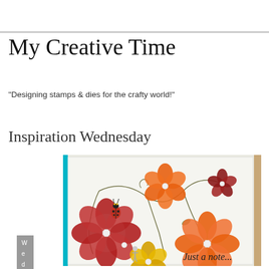My Creative Time
"Designing stamps & dies for the crafty world!"
Wednesday, April 30, 2014
Inspiration Wednesday
[Figure (photo): Handmade greeting card with glittery red and orange flowers, a ladybug, vines, pearl embellishments, and 'Just a note...' text on white cardstock with teal border]